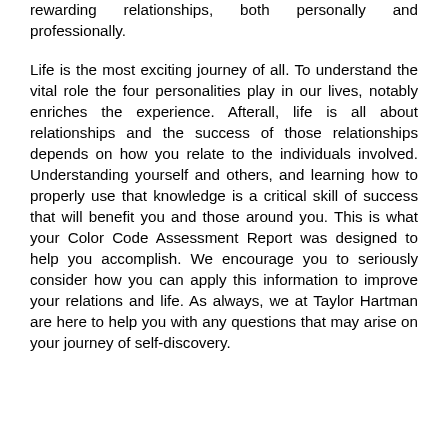rewarding relationships, both personally and professionally.
Life is the most exciting journey of all. To understand the vital role the four personalities play in our lives, notably enriches the experience. Afterall, life is all about relationships and the success of those relationships depends on how you relate to the individuals involved. Understanding yourself and others, and learning how to properly use that knowledge is a critical skill of success that will benefit you and those around you. This is what your Color Code Assessment Report was designed to help you accomplish. We encourage you to seriously consider how you can apply this information to improve your relations and life. As always, we at Taylor Hartman are here to help you with any questions that may arise on your journey of self-discovery.